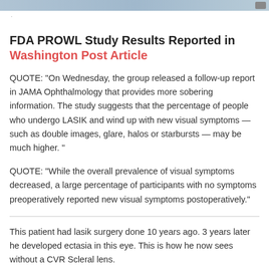FDA PROWL Study Results Reported in Washington Post Article
QUOTE: "On Wednesday, the group released a follow-up report in JAMA Ophthalmology that provides more sobering information. The study suggests that the percentage of people who undergo LASIK and wind up with new visual symptoms — such as double images, glare, halos or starbursts — may be much higher. "
QUOTE: "While the overall prevalence of visual symptoms decreased, a large percentage of participants with no symptoms preoperatively reported new visual symptoms postoperatively."
This patient had lasik surgery done 10 years ago. 3 years later he developed ectasia in this eye. This is how he now sees without a CVR Scleral lens.